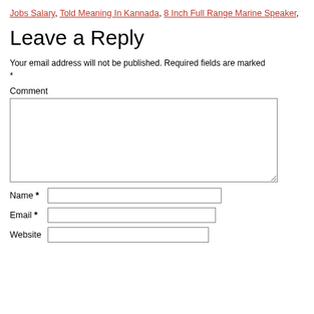Jobs Salary, Told Meaning In Kannada, 8 Inch Full Range Marine Speaker,
Leave a Reply
Your email address will not be published. Required fields are marked *
Comment
Name *
Email *
Website